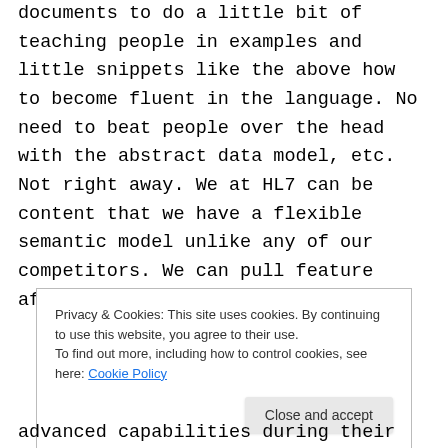documents to do a little bit of teaching people in examples and little snippets like the above how to become fluent in the language. No need to beat people over the head with the abstract data model, etc. Not right away. We at HL7 can be content that we have a flexible semantic model unlike any of our competitors. We can pull feature after feature out of the hat to
Privacy & Cookies: This site uses cookies. By continuing to use this website, you agree to their use.
To find out more, including how to control cookies, see here: Cookie Policy
advanced capabilities during their